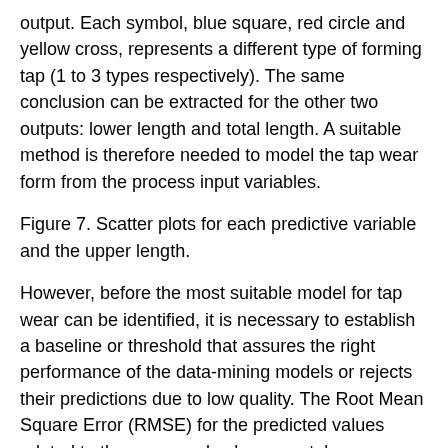output. Each symbol, blue square, red circle and yellow cross, represents a different type of forming tap (1 to 3 types respectively). The same conclusion can be extracted for the other two outputs: lower length and total length. A suitable method is therefore needed to model the tap wear form from the process input variables.
Figure 7. Scatter plots for each predictive variable and the upper length.
However, before the most suitable model for tap wear can be identified, it is necessary to establish a baseline or threshold that assures the right performance of the data-mining models or rejects their predictions due to low quality. The Root Mean Square Error (RMSE) for the predicted values related to the measured values was taken as a quality indicator. Two baseline approaches were considered: the first one is a naive approach, which considers the mean value of each output as the most probable value for each condition; the second one considers a linear fit of the 3 inputs for each output. Table 2 shows the